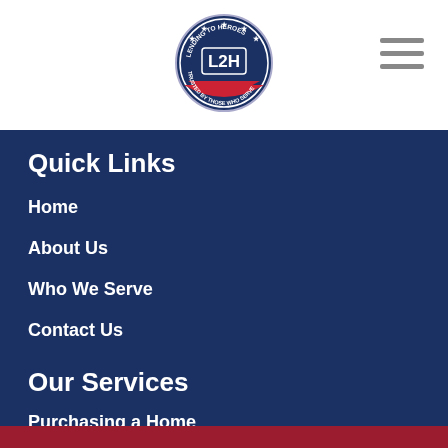[Figure (logo): L2H Lending to Heroes circular badge logo with stars and stripes]
Quick Links
Home
About Us
Who We Serve
Contact Us
Our Services
Purchasing a Home